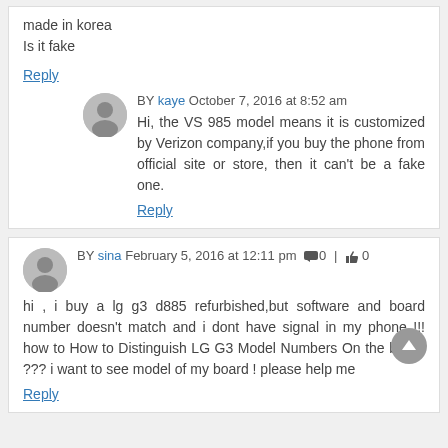made in korea
Is it fake
Reply
BY kaye October 7, 2016 at 8:52 am
Hi, the VS 985 model means it is customized by Verizon company,if you buy the phone from official site or store, then it can't be a fake one.
Reply
BY sina February 5, 2016 at 12:11 pm 0 | 0
hi , i buy a lg g3 d885 refurbished,but software and board number doesn't match and i dont have signal in my phone !!! how to How to Distinguish LG G3 Model Numbers On the board ??? i want to see model of my board ! please help me
Reply